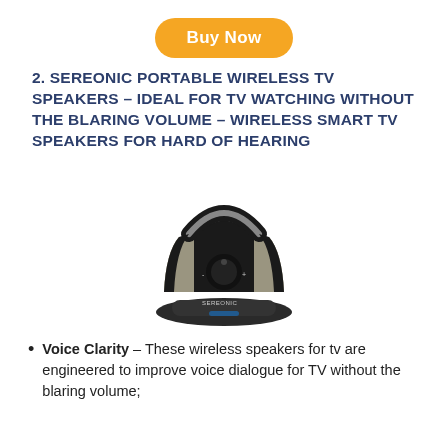Buy Now
2. SEREONIC PORTABLE WIRELESS TV SPEAKERS – IDEAL FOR TV WATCHING WITHOUT THE BLARING VOLUME – WIRELESS SMART TV SPEAKERS FOR HARD OF HEARING
[Figure (photo): Sereonic portable wireless TV speaker device, black and silver colored, with a handle on top, volume knob in center, and a charging base/dock at bottom.]
Voice Clarity – These wireless speakers for tv are engineered to improve voice dialogue for TV without the blaring volume;